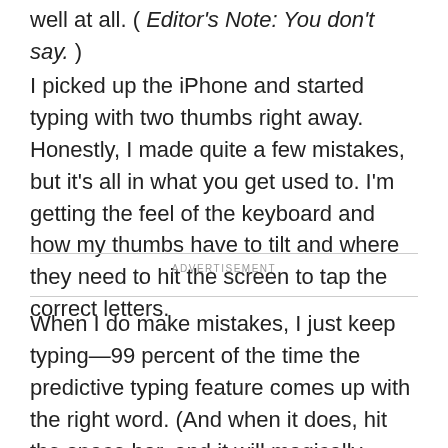well at all. ( Editor's Note: You don't say. )
I picked up the iPhone and started typing with two thumbs right away. Honestly, I made quite a few mistakes, but it's all in what you get used to. I'm getting the feel of the keyboard and how my thumbs have to tilt and where they need to hit the screen to tap the correct letters.
ADVERTISEMENT
When I do make mistakes, I just keep typing—99 percent of the time the predictive typing feature comes up with the right word. (And when it does, hit the space bar, and it will magically appear in your text.)